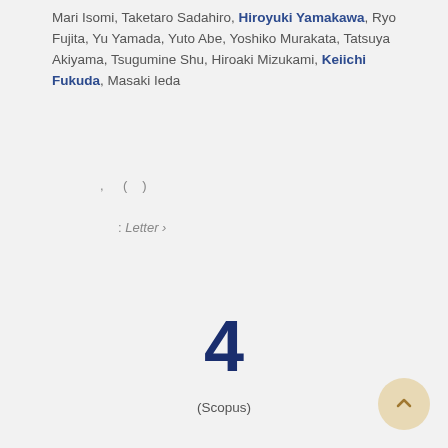Mari Isomi, Taketaro Sadahiro, Hiroyuki Yamakawa, Ryo Fujita, Yu Yamada, Yuto Abe, Yoshiko Murakata, Tatsuya Akiyama, Tsugumine Shu, Hiroaki Mizukami, Keiichi Fukuda, Masaki Ieda
, ( )
: Letter ›
4
(Scopus)